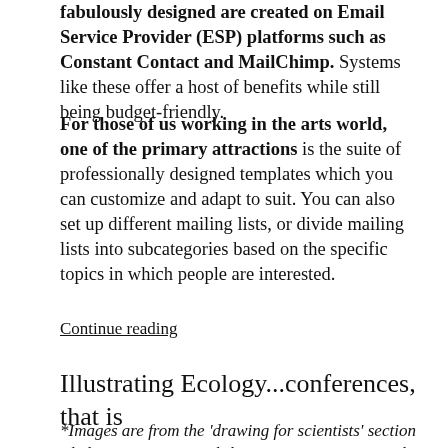fabulously designed are created on Email Service Provider (ESP) platforms such as Constant Contact and MailChimp. Systems like these offer a host of benefits while still being budget-friendly.
For those of us working in the arts world, one of the primary attractions is the suite of professionally designed templates which you can customize and adapt to suit. You can also set up different mailing lists, or divide mailing lists into subcategories based on the specific topics in which people are interested.
Continue reading
Illustrating Ecology...conferences, that is
*Images are from the 'drawing for scientists' section I led in a scicomm workshop at ESA's 2014 annual